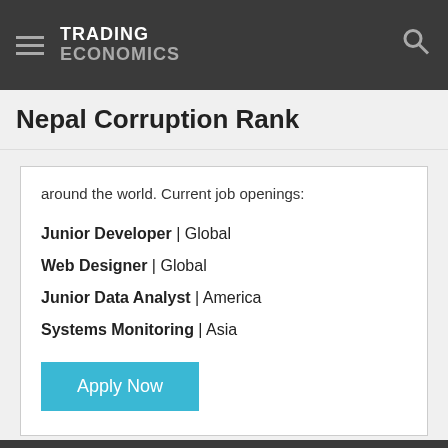TRADING ECONOMICS
Nepal Corruption Rank
around the world. Current job openings:
Junior Developer | Global
Web Designer | Global
Junior Data Analyst | America
Systems Monitoring | Asia
Apply Now